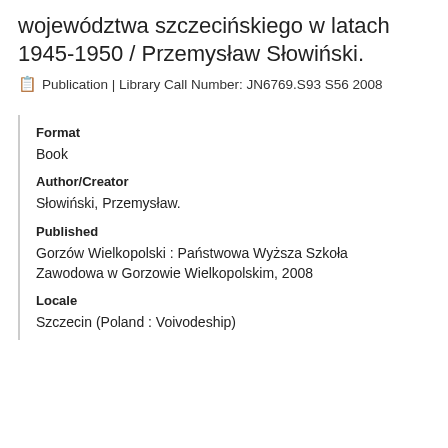województwa szczecińskiego w latach 1945-1950 / Przemysław Słowiński.
📋 Publication | Library Call Number: JN6769.S93 S56 2008
Format
Book
Author/Creator
Słowiński, Przemysław.
Published
Gorzów Wielkopolski : Państwowa Wyższa Szkoła Zawodowa w Gorzowie Wielkopolskim, 2008
Locale
Szczecin (Poland : Voivodeship)